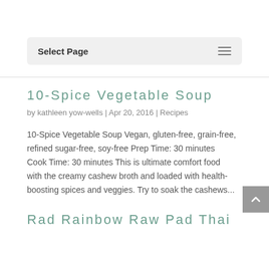Select Page
10-Spice Vegetable Soup
by kathleen yow-wells | Apr 20, 2016 | Recipes
10-Spice Vegetable Soup Vegan, gluten-free, grain-free, refined sugar-free, soy-free Prep Time: 30 minutes Cook Time: 30 minutes This is ultimate comfort food with the creamy cashew broth and loaded with health-boosting spices and veggies. Try to soak the cashews...
Rad Rainbow Raw Pad Thai